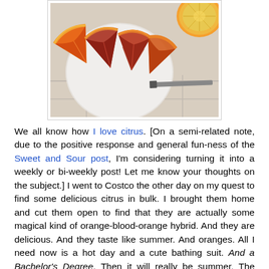[Figure (photo): Overhead photo of sliced blood orange / orange hybrid wedges on a white plate, with a knife and another halved citrus fruit visible on a white tiled countertop]
We all know how I love citrus. [On a semi-related note, due to the positive response and general fun-ness of the Sweet and Sour post, I'm considering turning it into a weekly or bi-weekly post! Let me know your thoughts on the subject.] I went to Costco the other day on my quest to find some delicious citrus in bulk. I brought them home and cut them open to find that they are actually some magical kind of orange-blood-orange hybrid. And they are delicious. And they taste like summer. And oranges. All I need now is a hot day and a cute bathing suit. And a Bachelor's Degree. Then it will really be summer. The pictures above don't really show